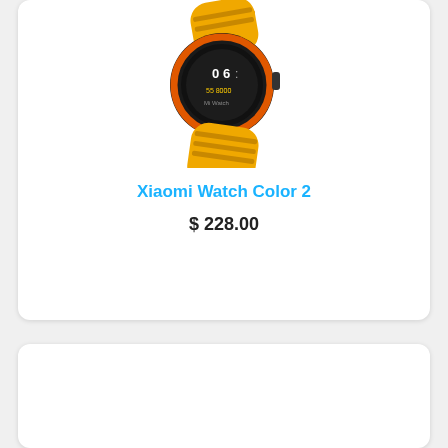[Figure (photo): Xiaomi Watch Color 2 smartwatch with yellow/orange strap and black circular face, displayed at an angle]
Xiaomi Watch Color 2
$ 228.00
[Figure (photo): Infinix Note smartphone with green/teal gradient back and blue/purple gradient front screen showing a number 7 graphic]